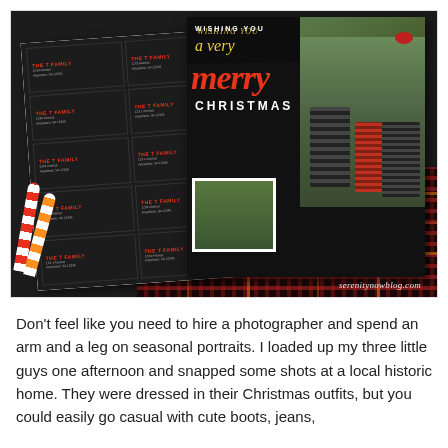[Figure (photo): Photograph of Christmas holiday cards and address labels laid out on a dark plaid fabric background with candy canes. Left side shows a sheet of address labels on dark background with red 'THE T FAMILY' text and decorative elements. Right side shows a chalkboard-style Christmas card reading 'WISHING YOU a very merry CHRISTMAS' with family photos. Watermark reads 'serenitynowblog.com'.]
Don't feel like you need to hire a photographer and spend an arm and a leg on seasonal portraits. I loaded up my three little guys one afternoon and snapped some shots at a local historic home. They were dressed in their Christmas outfits, but you could easily go casual with cute boots, jeans,